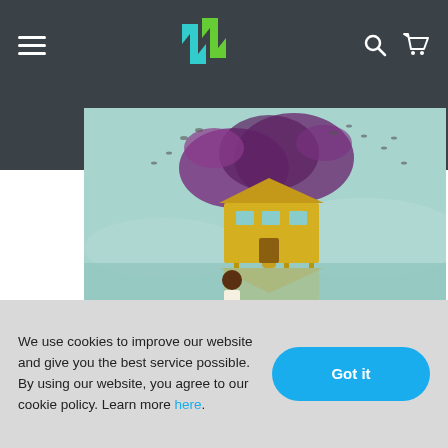Navigation bar with hamburger menu, logo (down-arrow icon), search and cart icons
[Figure (illustration): Book cover for 'as brave as you' by Jason Reynolds. Illustrated scene with a boy standing near reflective water, a house on stilts under a large tree with birds, teal/mint sky background. Title text 'as brave as you' and 'JASON REYNOLDS' overlaid on the lower portion of the cover.]
We use cookies to improve our website and give you the best service possible. By using our website, you agree to our cookie policy. Learn more here.